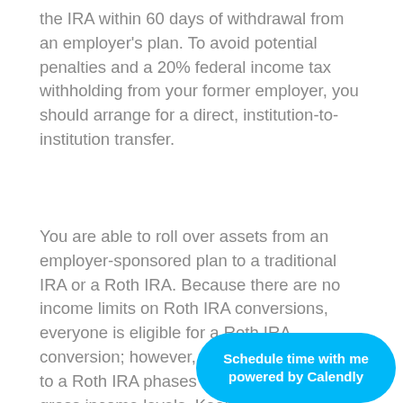the IRA within 60 days of withdrawal from an employer's plan. To avoid potential penalties and a 20% federal income tax withholding from your former employer, you should arrange for a direct, institution-to-institution transfer.
You are able to roll over assets from an employer-sponsored plan to a traditional IRA or a Roth IRA. Because there are no income limits on Roth IRA conversions, everyone is eligible for a Roth IRA conversion; however, eligibility to contribute to a Roth IRA phases out at higher modified gross income levels. Keep in mind that ordinary income taxes are owed (in the year of the conversion) on all tax-deferred assets converted to a Roth IRA.
An IRA can be tailored to your particular needs and goals and can incorporate various investment vehicles.  Although IRAs typically provide more investment choices than an employer plan, your plan may offer certain investments that are not available
[Figure (other): Calendly scheduling button overlay: 'Schedule time with me powered by Calendly' in white text on a cyan/blue rounded pill-shaped button]